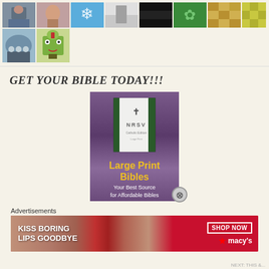[Figure (photo): Grid of thumbnail images: photos of people, snowflake patterns, book covers, Vatican, cartoon character]
GET YOUR BIBLE TODAY!!!
[Figure (photo): Advertisement for Large Print Bibles (NRSV) — book on purple background with text 'Large Print Bibles, Your Best Source for Affordable Bibles']
Advertisements
[Figure (photo): Macy's advertisement — 'KISS BORING LIPS GOODBYE' with red lipstick photo and 'SHOP NOW' button with macy's star logo]